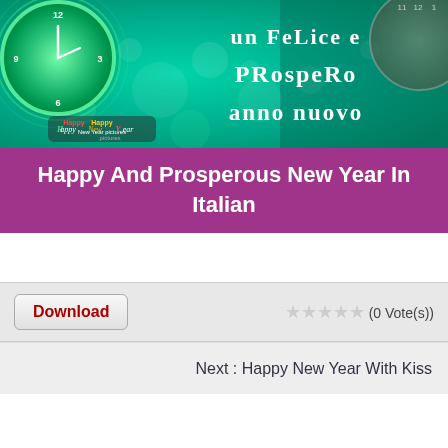[Figure (photo): New Year greeting card image with teal/green glowing clock on left, bokeh lights, and Italian New Year text 'un FeLice e PRosPeRo anno nuovo' on the right. Happy New Year Pictures watermark visible at bottom left.]
Happy And Prosperous New Year In Italian
Download
★★★★★ (0 Vote(s))
Next : Happy New Year With Kiss